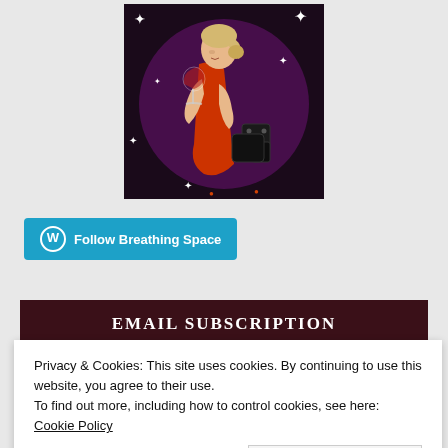[Figure (illustration): Illustration of an elegant woman in a red dress holding a wine glass, on a dark purple background with sparkles and playing card dice]
Follow Breathing Space
EMAIL SUBSCRIPTION
Privacy & Cookies: This site uses cookies. By continuing to use this website, you agree to their use.
To find out more, including how to control cookies, see here: Cookie Policy
Close and accept